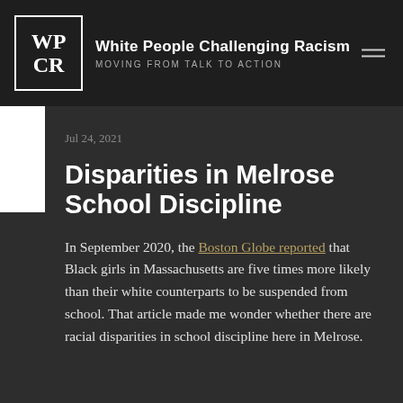White People Challenging Racism
MOVING FROM TALK TO ACTION
Jul 24, 2021
Disparities in Melrose School Discipline
In September 2020, the Boston Globe reported that Black girls in Massachusetts are five times more likely than their white counterparts to be suspended from school. That article made me wonder whether there are racial disparities in school discipline here in Melrose.